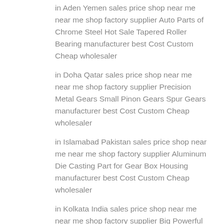in Aden Yemen sales price shop near me near me shop factory supplier Auto Parts of Chrome Steel Hot Sale Tapered Roller Bearing manufacturer best Cost Custom Cheap wholesaler
in Doha Qatar sales price shop near me near me shop factory supplier Precision Metal Gears Small Pinon Gears Spur Gears manufacturer best Cost Custom Cheap wholesaler
in Islamabad Pakistan sales price shop near me near me shop factory supplier Aluminum Die Casting Part for Gear Box Housing manufacturer best Cost Custom Cheap wholesaler
in Kolkata India sales price shop near me near me shop factory supplier Big Powerful 3D CNC Router Carving Machine for Marble manufacturer best Cost Custom Cheap wholesaler
in Conakry Guinea sales price shop near me near me shop factory supplier MW High Quality Precision